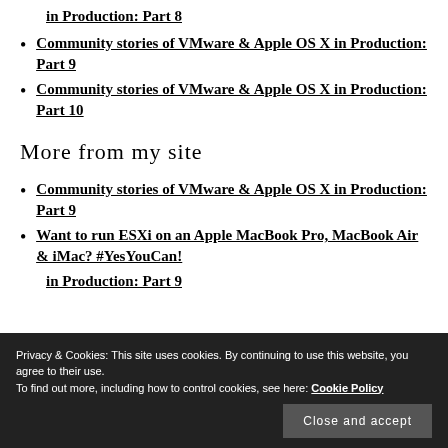Community stories of VMware & Apple OS X in Production: Part 8
Community stories of VMware & Apple OS X in Production: Part 9
Community stories of VMware & Apple OS X in Production: Part 10
More from my site
Community stories of VMware & Apple OS X in Production: Part 9
Want to run ESXi on an Apple MacBook Pro, MacBook Air & iMac? #YesYouCan!
Privacy & Cookies: This site uses cookies. By continuing to use this website, you agree to their use.
To find out more, including how to control cookies, see here: Cookie Policy
Close and accept